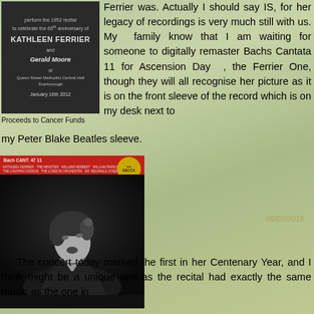[Figure (photo): Concert program booklet for Kathleen Ferrier and Gerald Moore recital at Queen Street Methodist Central Hall, Scarborough, January 16th 2012, celebrating 60th anniversary. Dark background with light text.]
Proceeds to Cancer Funds
Ferrier was. Actually I should say IS, for her legacy of recordings is very much still with us. My family know that I am waiting for someone to digitally remaster Bachs Cantata 11 for Ascension Day , the Ferrier One, though they will all recognise her picture as it is on the front sleeve of the record which is on my desk next to my Peter Blake Beatles sleeve.
[Figure (photo): Decca record sleeve for Bach Cantata, featuring a black and white photo of Kathleen Ferrier singing with eyes upward, in a dark jacket. Red band at top with DECCA gold circular logo badge.]
The concert today marked the first in her Centenary Year, and I think might be a unique one as the recital had exactly the same music as the one in